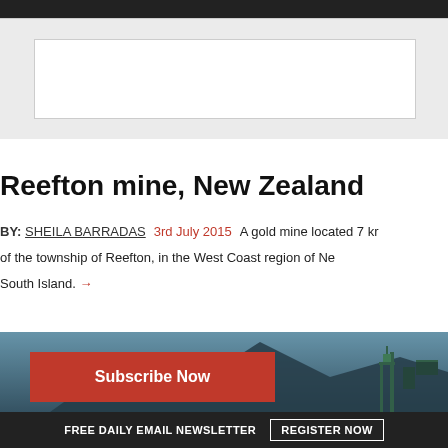[Figure (other): Dark top navigation bar]
[Figure (other): Advertisement placeholder box with light gray background]
Reefton mine, New Zealand
BY: SHEILA BARRADAS   3rd July 2015   A gold mine located 7 km of the township of Reefton, in the West Coast region of New Zealand's South Island. →
[Figure (photo): Photograph of misty mountainous landscape with industrial mining structure visible on the right, taken at dusk or overcast conditions]
Subscribe Now
FREE DAILY EMAIL NEWSLETTER   REGISTER NOW